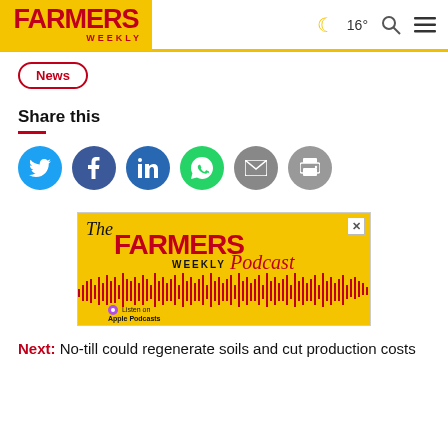Farmers Weekly — 16° [search] [menu]
News
Share this
[Figure (infographic): Six circular share buttons: Twitter (blue), Facebook (dark blue), LinkedIn (blue), WhatsApp (green), Email (grey), Print (grey)]
[Figure (illustration): The Farmers Weekly Podcast advertisement banner with yellow background, red logo text, podcast waveform graphic, and Apple Podcasts listen button]
Next: No-till could regenerate soils and cut production costs